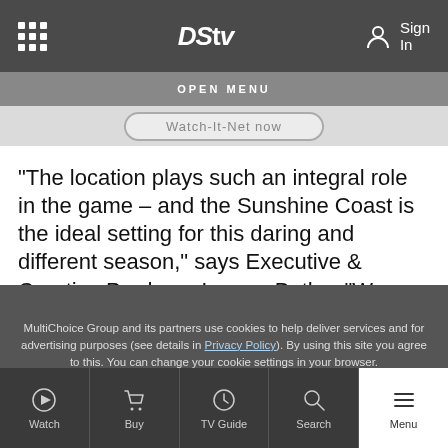DStv — Sign In
OPEN MENU
“The location plays such an integral role in the game – and the Sunshine Coast is the ideal setting for this daring and different season,” says Executive & Creative Producer Leroux Botha. “We saw last season that the Wild Coast lived up to its name and presented
name most of the year, but it also has a
and brooding side that can change the game at a
moment’s notice
MultiChoice Group and its partners use cookies to help deliver services and for advertising purposes (see details in Privacy Policy). By using this site you agree to this. You can change your cookie settings in your browser.
Watch | Buy | TV Guide | Search | Menu